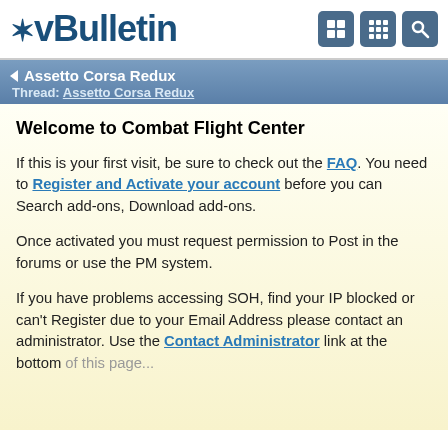vBulletin
Assetto Corsa Redux
Thread: Assetto Corsa Redux
Welcome to Combat Flight Center
If this is your first visit, be sure to check out the FAQ. You need to Register and Activate your account before you can Search add-ons, Download add-ons.
Once activated you must request permission to Post in the forums or use the PM system.
If you have problems accessing SOH, find your IP blocked or can't Register due to your Email Address please contact an administrator. Use the Contact Administrator link at the bottom of this page.